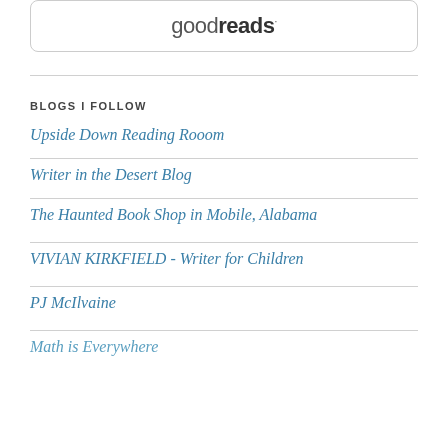[Figure (logo): Goodreads logo inside a rounded rectangle border]
BLOGS I FOLLOW
Upside Down Reading Rooom
Writer in the Desert Blog
The Haunted Book Shop in Mobile, Alabama
VIVIAN KIRKFIELD - Writer for Children
PJ McIlvaine
Math is Everywhere